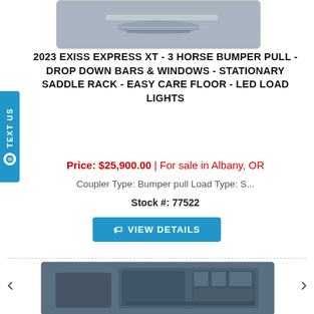[Figure (photo): Partial view of a horse trailer undercarriage/hitch area]
2023 EXISS EXPRESS XT - 3 HORSE BUMPER PULL - DROP DOWN BARS & WINDOWS - STATIONARY SADDLE RACK - EASY CARE FLOOR - LED LOAD LIGHTS
Price: $25,900.00 | For sale in Albany, OR
Coupler Type: Bumper pull Load Type: S...
Stock #: 77522
VIEW DETAILS
[Figure (photo): Horse trailer exterior photo showing a dark blue/grey enclosed horse trailer]